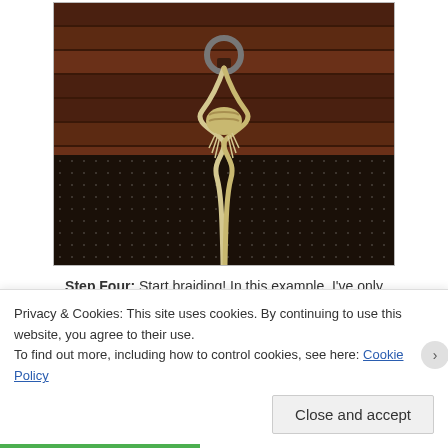[Figure (photo): Photo of a rope or twine tied through a metal ring hook mounted on dark wooden planks, with the rope hanging down against a dark background with dot pattern.]
Step Four: Start braiding! In this example, I've only
Privacy & Cookies: This site uses cookies. By continuing to use this website, you agree to their use.
To find out more, including how to control cookies, see here: Cookie Policy
Close and accept